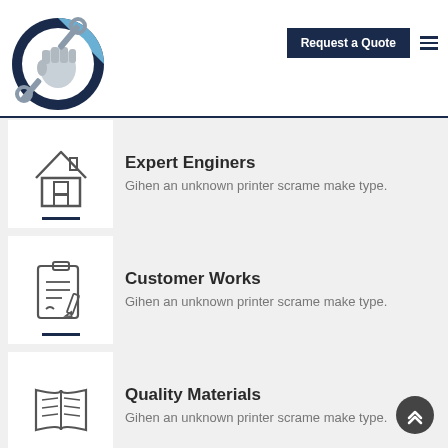[Figure (logo): Circular logo with a fist holding a wrench, dark navy and light blue colors]
Request a Quote
[Figure (illustration): House/home icon outline]
Expert Enginers
Gihen an unknown printer scrame make type.
[Figure (illustration): Clipboard with checklist and pencil icon outline]
Customer Works
Gihen an unknown printer scrame make type.
[Figure (illustration): Open book/window icon outline]
Quality Materials
Gihen an unknown printer scrame make type.